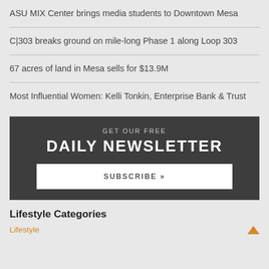ASU MIX Center brings media students to Downtown Mesa
C|303 breaks ground on mile-long Phase 1 along Loop 303
67 acres of land in Mesa sells for $13.9M
Most Influential Women: Kelli Tonkin, Enterprise Bank & Trust
[Figure (infographic): Dark grey newsletter signup box with text 'GET OUR FREE DAILY NEWSLETTER' and a white SUBSCRIBE button]
Lifestyle Categories
Lifestyle